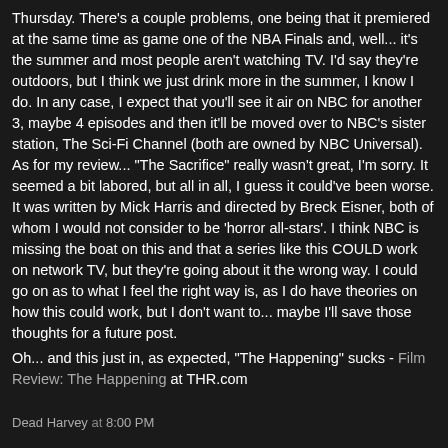Thursday. There's a couple problems, one being that it premiered at the same time as game one of the NBA Finals and, well... it's the summer and most people aren't watching TV. I'd say they're outdoors, but I think we just drink more in the summer, I know I do. In any case, I expect that you'll see it air on NBC for another 3, maybe 4 episodes and then it'll be moved over to NBC's sister station, The Sci-Fi Channel (both are owned by NBC Universal). As for my review... "The Sacrifice" really wasn't great, I'm sorry. It seemed a bit labored, but all in all, I guess it could've been worse. It was written by Mick Harris and directed by Breck Eisner, both of whom I would not consider to be 'horror all-stars'. I think NBC is missing the boat on this and that a series like this COULD work on network TV, but they're going about it the wrong way. I could go on as to what I feel the right way is, as I do have theories on how this could work, but I don't want to... maybe I'll save those thoughts for a future post.
Oh... and this just in, as expected, "The Happening" sucks - Film Review: The Happening at THR.com
Dead Harvey at 8:00 PM